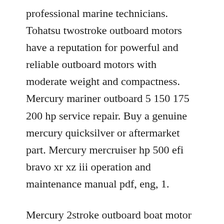professional marine technicians. Tohatsu twostroke outboard motors have a reputation for powerful and reliable outboard motors with moderate weight and compactness. Mercury mariner outboard 5 150 175 200 hp service repair. Buy a genuine mercury quicksilver or aftermarket part. Mercury mercruiser hp 500 efi bravo xr xz iii operation and maintenance manual pdf, eng, 1.
Mercury 2stroke outboard boat motor service manuals pdf download. Engine upgrades available is your family ready for great